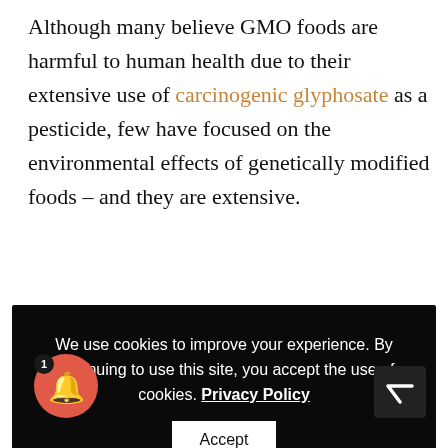Although many believe GMO foods are harmful to human health due to their extensive use of carcinogenic glyphosate as a pesticide, few have focused on the environmental effects of genetically modified foods – and they are extensive.
We use cookies to improve your experience. By continuing to use this site, you accept the use of cookies. Privacy Policy [Accept button]